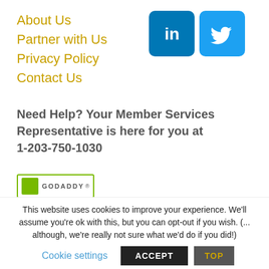About Us
Partner with Us
Privacy Policy
Contact Us
[Figure (logo): LinkedIn and Twitter social media icons]
Need Help? Your Member Services Representative is here for you at 1-203-750-1030
[Figure (logo): GoDaddy SSL certificate badge]
This website uses cookies to improve your experience. We'll assume you're ok with this, but you can opt-out if you wish. (... although, we're really not sure what we'd do if you did!)
Cookie settings
ACCEPT
TOP